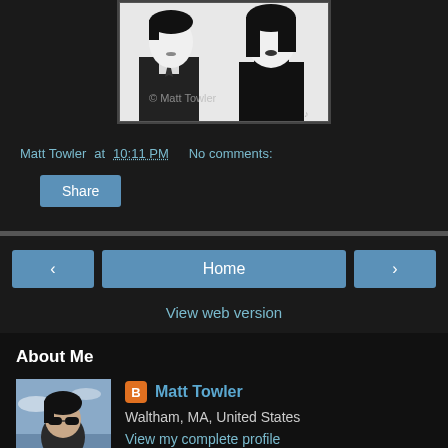[Figure (illustration): Black and white illustration of two anime-style characters side by side. Left character wears a suit and tie, right character wears a choker collar. Watermark reads '© Matt Towler' in gray.]
Matt Towler at 10:11 PM    No comments:
Share
< Home >
View web version
About Me
[Figure (photo): Profile photo of Matt Towler wearing sunglasses, dark hair, looking upward against a sky background.]
Matt Towler
Waltham, MA, United States
View my complete profile